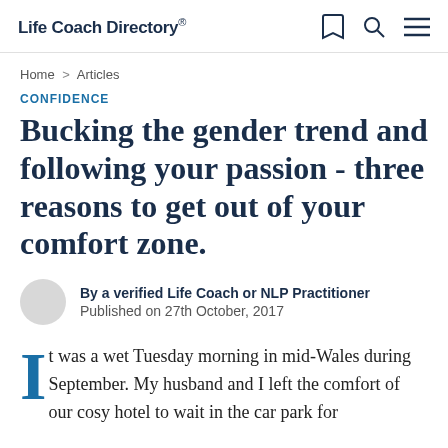Life Coach Directory®
Home > Articles
CONFIDENCE
Bucking the gender trend and following your passion - three reasons to get out of your comfort zone.
By a verified Life Coach or NLP Practitioner
Published on 27th October, 2017
It was a wet Tuesday morning in mid-Wales during September. My husband and I left the comfort of our cosy hotel to wait in the car park for